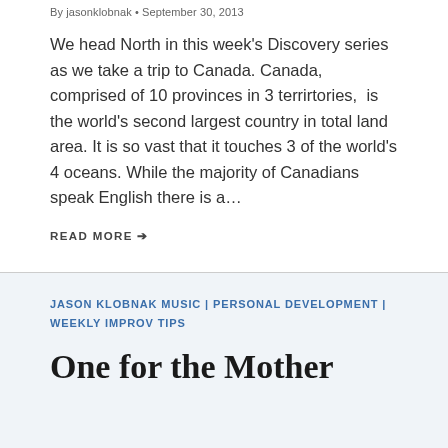By jasonklobnak • September 30, 2013
We head North in this week's Discovery series as we take a trip to Canada. Canada, comprised of 10 provinces in 3 terrirtories,  is the world's second largest country in total land area. It is so vast that it touches 3 of the world's 4 oceans. While the majority of Canadians speak English there is a…
READ MORE →
JASON KLOBNAK MUSIC | PERSONAL DEVELOPMENT | WEEKLY IMPROV TIPS
One for the Mother